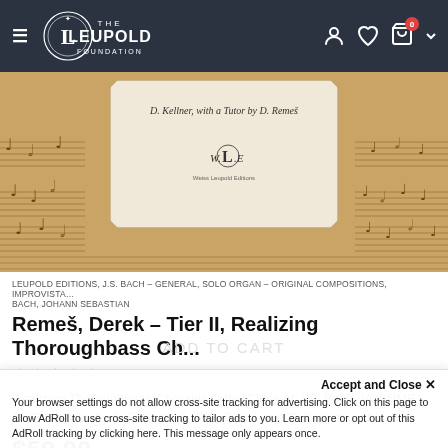THE LEUPOLD FOUNDATION — navigation bar with hamburger menu, logo, user icon, heart icon, cart (0), chevron
[Figure (photo): Product image showing sheet music background with an inner card displaying 'D. Kellner, with a Tutor by D. Remes' and WLE (Weiss Leupold Editions) logo]
LEUPOLD EDITIONS, J.S. BACH – GENERAL, SOLO ORGAN – ORIGINAL COMPOSITIONS, IMPROVISTA… BACH, JOHANN SEBASTIAN
Remeš, Derek – Tier II, Realizing Thoroughbass Ch...
★★★★★
Realizing Thoroughbass Chorales in the Circle of J.S. Bach, VOLUME ONE Sources by J. S. Bach, C. P. E. Bach, and D. Kellner, with a Tuto…
$59.00
Accept and Close ✕
Your browser settings do not allow cross-site tracking for advertising. Click on this page to allow AdRoll to use cross-site tracking to tailor ads to you. Learn more or opt out of this AdRoll tracking by clicking here. This message only appears once.